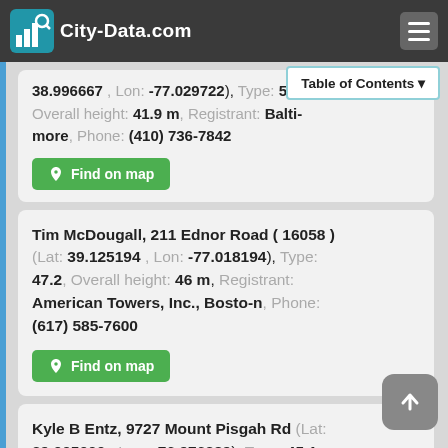City-Data.com
38.996667 , Lon: -77.029722), Type: 55.5, Overall height: 41.9 m, Registrant: Baltimore, Phone: (410) 736-7842
Tim McDougall, 211 Ednor Road ( 16058 ) (Lat: 39.125194 , Lon: -77.018194), Type: 47.2, Overall height: 46 m, Registrant: American Towers, Inc., Bosto-n, Phone: (617) 585-7600
Kyle B Entz, 9727 Mount Pisgah Rd (Lat: 39.005000 , Lon: -76.976389), Type: 45.1, Overall height: 45.1 m, Registrant: Nextel Communications Of The Mid-Atlantic...